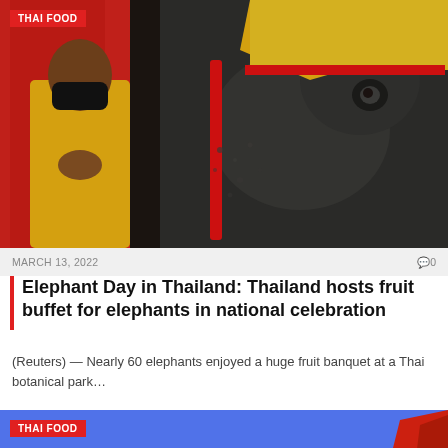[Figure (photo): Man in yellow traditional Thai outfit wearing a black face mask, hands pressed together in prayer gesture (wai), standing next to a decorated elephant wearing red and yellow decorative cloth. Red-clad figures in background.]
THAI FOOD
MARCH 13, 2022    0€0
Elephant Day in Thailand: Thailand hosts fruit buffet for elephants in national celebration
(Reuters) — Nearly 60 elephants enjoyed a huge fruit banquet at a Thai botanical park...
[Figure (photo): Partial view of a second article image with blue background and red element visible at right edge.]
THAI FOOD